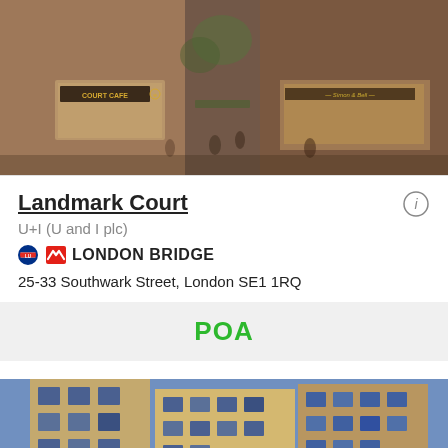[Figure (photo): Architectural rendering of Landmark Court development showing a pedestrian alleyway with brick buildings, a cafe (Court Cafe) on the left, and people walking through. Warm sepia/brown tones.]
Landmark Court
U+I (U and I plc)
LONDON BRIDGE
25-33 Southwark Street, London SE1 1RQ
POA
[Figure (photo): Photograph of a modern residential building development with brick and light-coloured facades, balconies, against a blue sky.]